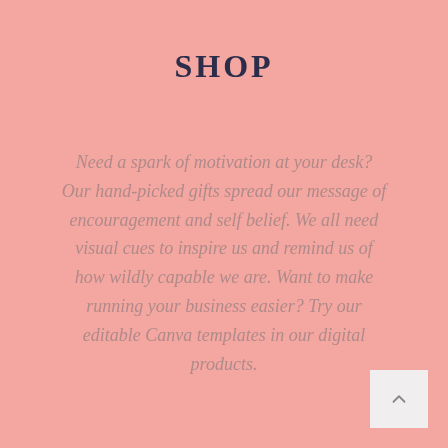SHOP
Need a spark of motivation at your desk? Our hand-picked gifts spread our message of encouragement and self belief. We all need visual cues to inspire us and remind us of how wildly capable we are. Want to make running your business easier? Try our editable Canva templates in our digital products.